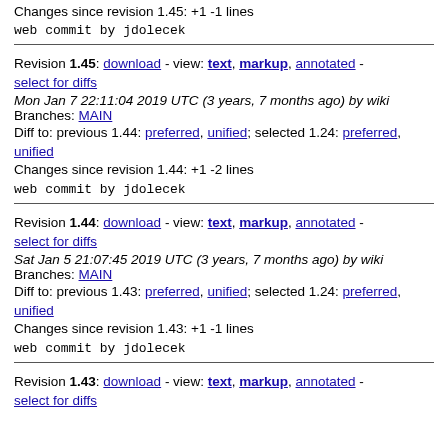Changes since revision 1.45: +1 -1 lines
web commit by jdolecek
Revision 1.45: download - view: text, markup, annotated - select for diffs
Mon Jan 7 22:11:04 2019 UTC (3 years, 7 months ago) by wiki
Branches: MAIN
Diff to: previous 1.44: preferred, unified; selected 1.24: preferred, unified
Changes since revision 1.44: +1 -2 lines
web commit by jdolecek
Revision 1.44: download - view: text, markup, annotated - select for diffs
Sat Jan 5 21:07:45 2019 UTC (3 years, 7 months ago) by wiki
Branches: MAIN
Diff to: previous 1.43: preferred, unified; selected 1.24: preferred, unified
Changes since revision 1.43: +1 -1 lines
web commit by jdolecek
Revision 1.43: download - view: text, markup, annotated - select for diffs